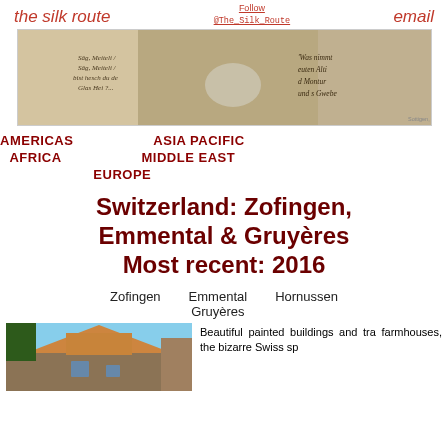the silk route   Follow @The_Silk_Route   email
[Figure (photo): Banner image showing painted mural with historical figures including people in traditional dress, a horse, and German text on the wall]
AMERICAS
ASIA PACIFIC
AFRICA
MIDDLE EAST
EUROPE
Switzerland: Zofingen, Emmental & Gruyères Most recent: 2016
Zofingen   Emmental   Hornussen
Gruyères
[Figure (photo): Photo of a Swiss building with pointed roof tiles and blue sky]
Beautiful painted buildings and tra farmhouses, the bizarre Swiss sp